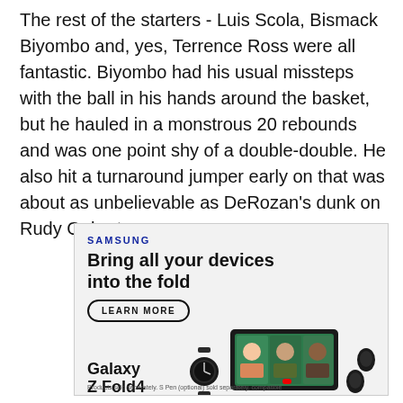The rest of the starters - Luis Scola, Bismack Biyombo and, yes, Terrence Ross were all fantastic. Biyombo had his usual missteps with the ball in his hands around the basket, but he hauled in a monstrous 20 rebounds and was one point shy of a double-double. He also hit a turnaround jumper early on that was about as unbelievable as DeRozan's dunk on Rudy Gobert.
[Figure (infographic): Samsung advertisement: 'SAMSUNG - Bring all your devices into the fold' with a 'LEARN MORE' button, showing Galaxy Z Fold4 with a watch, earbuds, and a laptop/tablet device displaying people on a video call. Fine print: 'Products sold separately. S Pen (optional) sold separately, compatible']